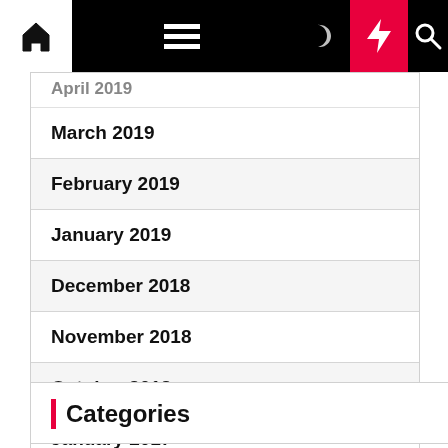Navigation bar with home, menu, dark mode, lightning, and search icons
March 2019
February 2019
January 2019
December 2018
November 2018
October 2018
January 2017
Categories